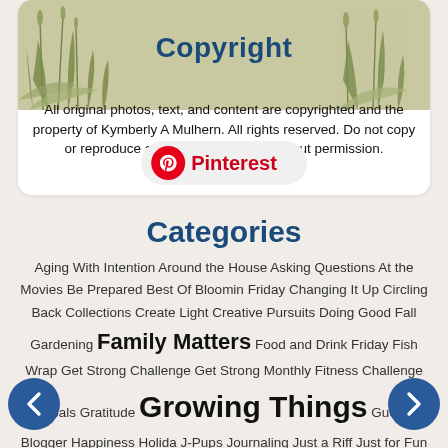[Figure (illustration): Botanical illustration of grasses and plants with muted olive/green tones as background image for copyright box]
Copyright
All original photos, text, and content are copyrighted and the property of Kymberly A Mulhern. All rights reserved. Do not copy or reproduce anything on this site without permission.
[Figure (logo): Pinterest logo button with red circle P icon and red Pinterest text on light grey pill-shaped background]
Categories
Aging With Intention Around the House Asking Questions At the Movies Be Prepared Best Of Bloomin Friday Changing It Up Circling Back Collections Create Light Creative Pursuits Doing Good Fall Gardening Family Matters Food and Drink Friday Fish Wrap Get Strong Challenge Get Strong Monthly Fitness Challenge Goals Gratitude Growing Things Guest Blogger Happiness Holidays J-Pups Journaling Just a Riff Just for Fun Just Life Knitting Look Up Looking for Hope Love Making Stuff Memory Lane Michigan Month of Letters Museum of Me